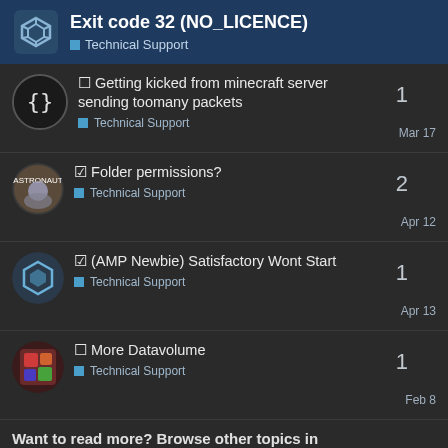Exit code 32 (NO_LICENCE) — Technical Support
Getting kicked from minecraft server sending toomany packets — Technical Support — Mar 17 — 1 reply
Folder permissions? — Technical Support — Apr 12 — 2 replies
(AMP Newbie) Satisfactory Wont Start — Technical Support — Apr 13 — 1 reply
More Datavolume — Technical Support — Feb 8 — 1 reply
Want to read more? Browse other topics in Technical Support or view latest topics.